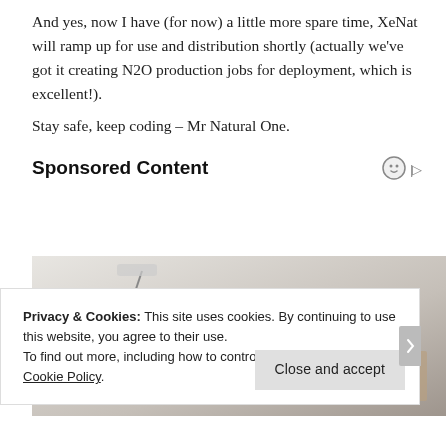And yes, now I have (for now) a little more spare time, XeNat will ramp up for use and distribution shortly (actually we've got it creating N2O production jobs for deployment, which is excellent!).
Stay safe, keep coding – Mr Natural One.
Sponsored Content
[Figure (photo): Advertisement image showing a modern sectional sofa/couch with side tables and accessories, on a light grey gradient background.]
Privacy & Cookies: This site uses cookies. By continuing to use this website, you agree to their use.
To find out more, including how to control cookies, see here: Cookie Policy.